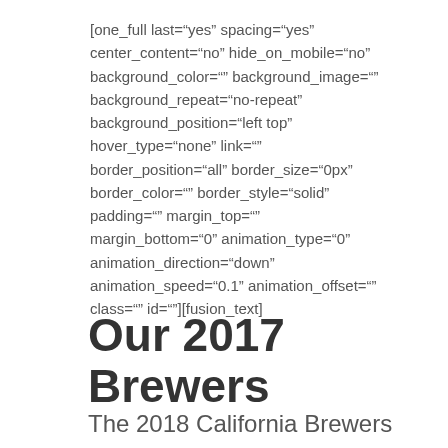[one_full last="yes" spacing="yes" center_content="no" hide_on_mobile="no" background_color="" background_image="" background_repeat="no-repeat" background_position="left top" hover_type="none" link="" border_position="all" border_size="0px" border_color="" border_style="solid" padding="" margin_top="" margin_bottom="0" animation_type="0" animation_direction="down" animation_speed="0.1" animation_offset="" class="" id=""][fusion_text]
Our 2017 Brewers
The 2018 California Brewers